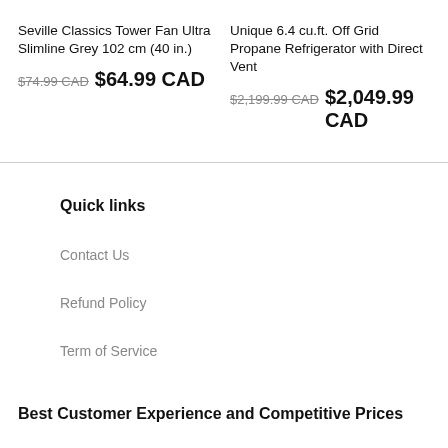Seville Classics Tower Fan Ultra Slimline Grey 102 cm (40 in.)
$74.99 CAD  $64.99 CAD
Unique 6.4 cu.ft. Off Grid Propane Refrigerator with Direct Vent
$2,199.99 CAD  $2,049.99 CAD
Quick links
Contact Us
Refund Policy
Term of Service
Best Customer Experience and Competitive Prices